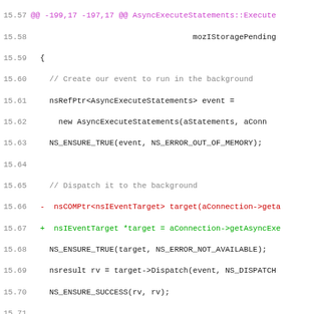[Figure (screenshot): Source code diff view showing C++ code with line numbers 15.57-15.89, including diff markers (@@, +, -), comments, and code in monospace font with syntax highlighting colors (red for deletions, green for additions, purple for diff headers, gray for comments).]